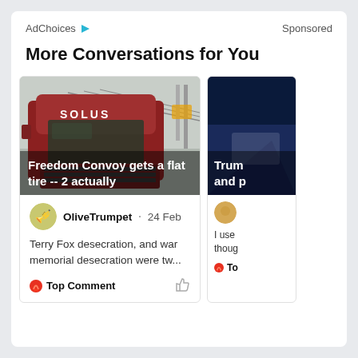AdChoices ▷   Sponsored
More Conversations for You
[Figure (photo): Red semi-truck with SOLUS on cab, misty industrial background]
Freedom Convoy gets a flat tire -- 2 actually
OliveTrumpet · 24 Feb
Terry Fox desecration, and war memorial desecration were tw...
🔥 Top Comment
[Figure (photo): Dark navy blue background partially visible]
Trum and p
I use thoug
🔥 To